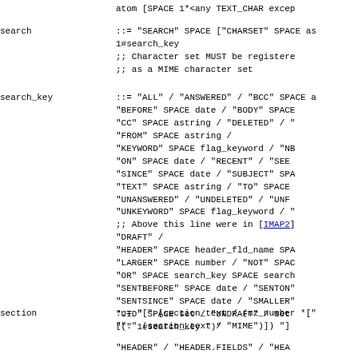atom [SPACE 1*<any TEXT_CHAR excep...
search ::= "SEARCH" SPACE ["CHARSET" SPACE as... 1#search_key ;; Character set MUST be registere... ;; as a MIME character set
search_key ::= "ALL" / "ANSWERED" / "BCC" SPACE a... "BEFORE" SPACE date / "BODY" SPACE... "CC" SPACE astring / "DELETED" / "... "FROM" SPACE astring / "KEYWORD" SPACE flag_keyword / "NB... "ON" SPACE date / "RECENT" / "SEE... "SINCE" SPACE date / "SUBJECT" SPA... "TEXT" SPACE astring / "TO" SPACE ... "UNANSWERED" / "UNDELETED" / "UNF... "UNKEYWORD" SPACE flag_keyword / "... ;; Above this line were in [IMAP2] "DRAFT" / "HEADER" SPACE header_fld_name SPA... "LARGER" SPACE number / "NOT" SPAC... "OR" SPACE search_key SPACE search... "SENTBEFORE" SPACE date / "SENTON"... "SENTSINCE" SPACE date / "SMALLER"... "UID" SPACE set / "UNDRAFT" / set ... "(" 1#search_key ")"
section ::= "[" [section_text / (nz_number *["...  ["." (section_text / "MIME")]) "]"